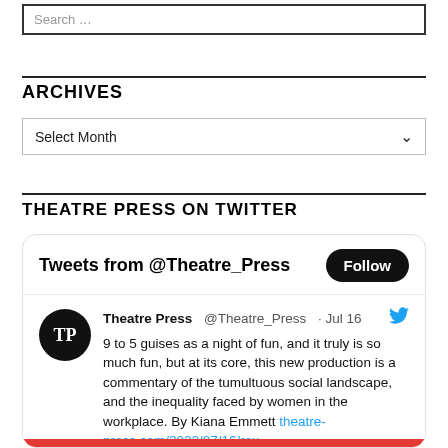Search ...
ARCHIVES
Select Month
THEATRE PRESS ON TWITTER
Tweets from @Theatre_Press
Theatre Press @Theatre_Press · Jul 16
9 to 5 guises as a night of fun, and it truly is so much fun, but at its core, this new production is a commentary of the tumultuous social landscape, and the inequality faced by women in the workplace. By Kiana Emmett theatre-press.com/2022/07/16/rou...